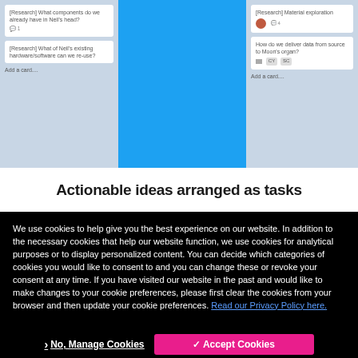[Figure (screenshot): Screenshot of a Trello-like project board with blue background. Left column shows cards: '[Research] What components do we already have in Neil's head?' with comment icon and '1', and '[Research] What of Neil's existing hardware/software can we re-use?' with 'Add a card...' link. Right column shows cards: '[Research] Material exploration' with avatar and '4' comments, and 'How do we deliver data from source to Moon's organ?' with avatar badges CY and SC, and 'Add a card...' link.]
Actionable ideas arranged as tasks
We use cookies to help give you the best experience on our website. In addition to the necessary cookies that help our website function, we use cookies for analytical purposes or to display personalized content. You can decide which categories of cookies you would like to consent to and you can change these or revoke your consent at any time. If you have visited our website in the past and would like to make changes to your cookie preferences, please first clear the cookies from your browser and then update your cookie preferences. Read our Privacy Policy here.
❯ No, Manage Cookies
✓ Accept Cookies